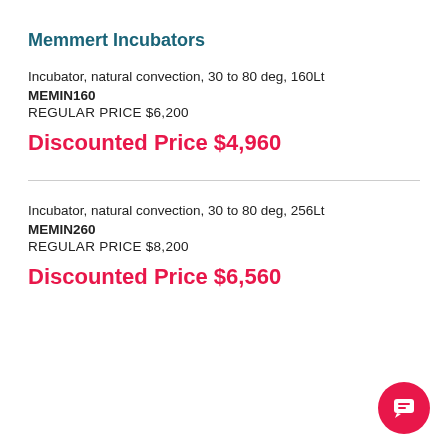Memmert Incubators
Incubator, natural convection, 30 to 80 deg, 160Lt
MEMIN160
REGULAR PRICE $6,200
Discounted Price $4,960
Incubator, natural convection, 30 to 80 deg, 256Lt
MEMIN260
REGULAR PRICE $8,200
Discounted Price $6,560